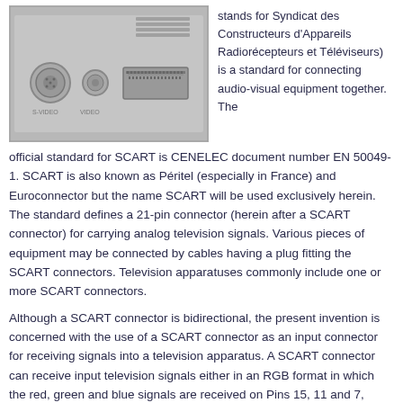[Figure (photo): Photograph of the back panel of an electronic device showing a SCART connector and other ports on a metallic silver surface.]
stands for Syndicat des Constructeurs d'Appareils Radiorécepteurs et Téléviseurs) is a standard for connecting audio-visual equipment together. The official standard for SCART is CENELEC document number EN 50049-1. SCART is also known as Péritel (especially in France) and Euroconnector but the name SCART will be used exclusively herein. The standard defines a 21-pin connector (herein after a SCART connector) for carrying analog television signals. Various pieces of equipment may be connected by cables having a plug fitting the SCART connectors. Television apparatuses commonly include one or more SCART connectors.
Although a SCART connector is bidirectional, the present invention is concerned with the use of a SCART connector as an input connector for receiving signals into a television apparatus. A SCART connector can receive input television signals either in an RGB format in which the red, green and blue signals are received on Pins 15, 11 and 7, respectively, or alternatively in an S-Video format in which the luminance (Y) and chroma (C) signals are received on Pins 20 and 15. As a result of the common usage of Pin 15 in accordance